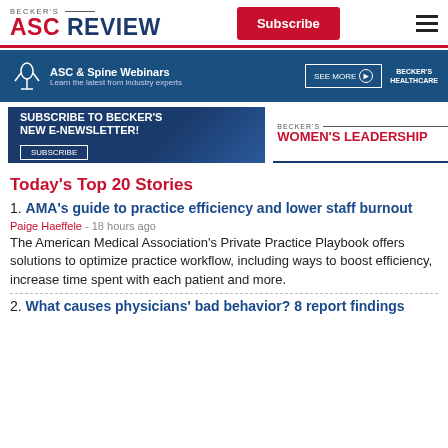BECKER'S ASC REVIEW
[Figure (infographic): ASC & Spine Webinars banner ad with Becker's Healthcare logo and SEE MORE button]
[Figure (infographic): Subscribe to Becker's New E-Newsletter ad banner with SUBSCRIBE button, and Becker's Women's Leadership logo]
Today's Top 20 Stories
1. AMA's guide to practice efficiency and lower staff burnout
Paige Haeffele - 18 hours ago
The American Medical Association's Private Practice Playbook offers solutions to optimize practice workflow, including ways to boost efficiency, increase time spent with each patient and more.
2. What causes physicians' bad behavior? 8 report findings